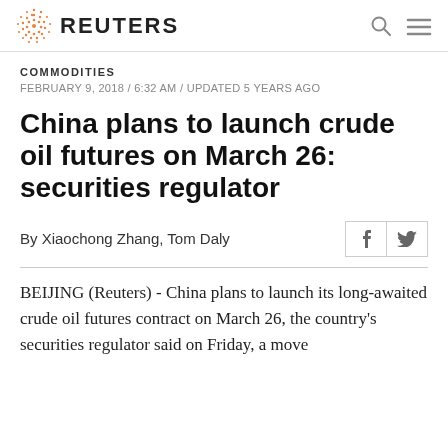REUTERS
COMMODITIES
FEBRUARY 9, 2018 / 6:32 AM / UPDATED 5 YEARS AGO
China plans to launch crude oil futures on March 26: securities regulator
By Xiaochong Zhang, Tom Daly
BEIJING (Reuters) - China plans to launch its long-awaited crude oil futures contract on March 26, the country's securities regulator said on Friday, a move